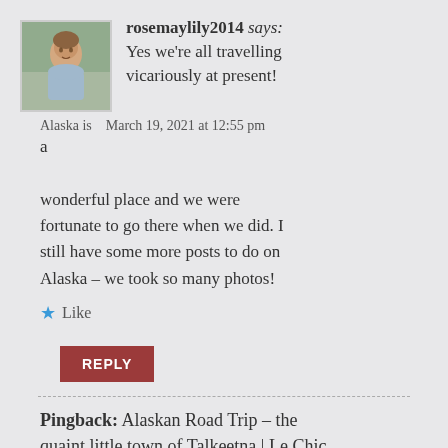rosemaylily2014 says: Yes we're all travelling vicariously at present!
[Figure (photo): Avatar photo of a woman sitting indoors, wearing a blue top]
Alaska is   March 19, 2021 at 12:55 pm
Alaska is a wonderful place and we were fortunate to go there when we did. I still have some more posts to do on Alaska – we took so many photos!
★ Like
REPLY
Pingback: Alaskan Road Trip – the quaint little town of Talkeetna | Le Chic